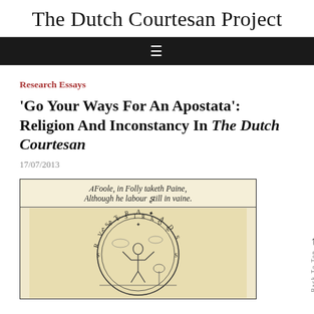The Dutch Courtesan Project
≡
Research Essays
'Go Your Ways For An Apostata': Religion And Inconstancy In The Dutch Courtesan
17/07/2013
[Figure (illustration): An old engraving or woodcut illustration showing a circular emblem with text 'FRVSTRADA' around the border and a figure inside. Above the circle, italic text reads: 'A Foole, in Folly taketh Paine, Although he labour still in vaine.']